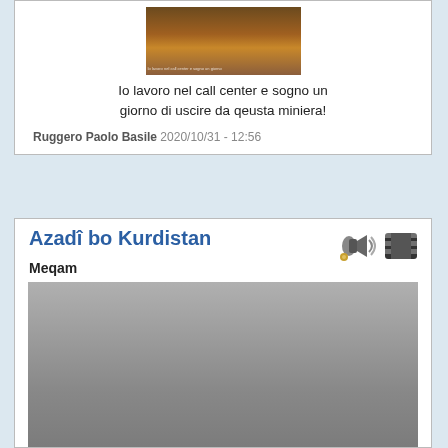[Figure (photo): Thumbnail image showing an autumn/brown scene with text overlay at bottom]
Io lavoro nel call center e sogno un giorno di uscire da qeusta miniera!
Ruggero Paolo Basile 2020/10/31 - 12:56
Azadî bo Kurdistan
Meqam
[Figure (photo): Photograph showing people on scaffolding, appears to depict a public execution scene]